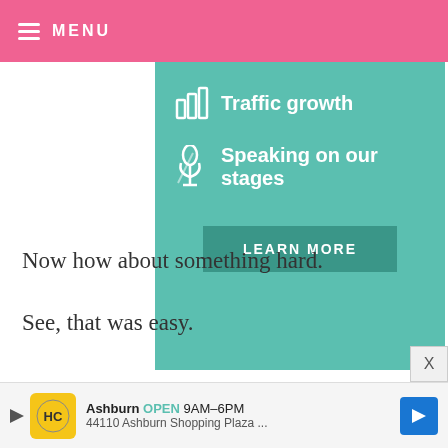MENU
[Figure (screenshot): Teal/green promotional banner showing icons and text: 'Traffic growth' with a bar chart icon, 'Speaking on our stages' with a microphone icon, and a 'LEARN MORE' button]
Enjoy!
See, that was easy.
Now how about something hard.
Voting for the 2010 Bloggies is underway and guess what... Bakerella was nominated in two categorie
[Figure (screenshot): Advertisement bar: HC logo, Ashburn OPEN 9AM-6PM, 44110 Ashburn Shopping Plaza...]